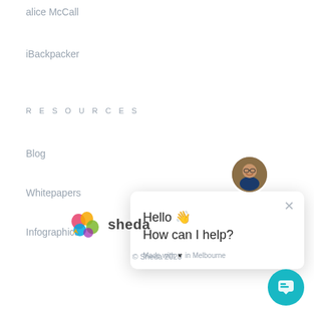alice McCall
iBackpacker
RESOURCES
Blog
Whitepapers
Infographics
[Figure (screenshot): Chat popup widget showing avatar of a man, a close X button, text 'Hello 👋 How can I help?', and footer 'Made with ♥ in Melbourne']
[Figure (logo): Sheda colorful brain logo with the word 'sheda']
© Sheda 2020